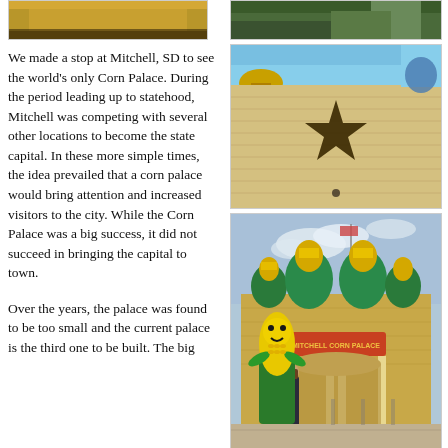[Figure (photo): Partial view of a tan/brown building exterior, cropped at top]
[Figure (photo): Partial view of outdoor scene with trees and sky, cropped at top right]
We made a stop at Mitchell, SD to see the world’s only Corn Palace. During the period leading up to statehood, Mitchell was competing with several other locations to become the state capital. In these more simple times, the idea prevailed that a corn palace would bring attention and increased visitors to the city. While the Corn Palace was a big success, it did not succeed in bringing the capital to town.
[Figure (photo): Close-up of the Corn Palace exterior showing a large dark star on a tan/brick background with ornate dome visible at top]
Over the years, the palace was found to be too small and the current palace is the third one to be built. The big
[Figure (photo): Person standing in front of the Mitchell Corn Palace entrance with a large corn mascot statue. The building has colorful onion domes and a sign reading MITCHELL CORN PALACE.]